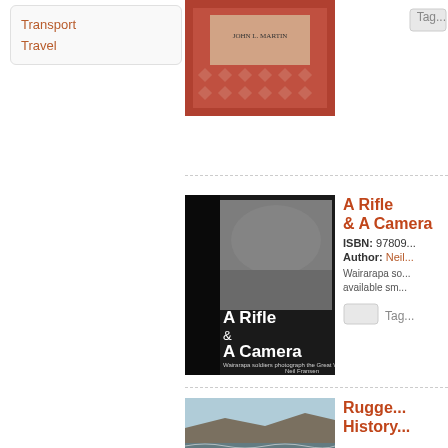Transport
Travel
[Figure (photo): Book cover - partially visible, red/brown decorative pattern with author name John L. Martin]
[Figure (photo): Small thumbnail/tag button top right area]
A Rifle &
ISBN: 97809...
Author: Neil...
Wairarapa so... available sm...
[Figure (photo): Book cover of 'A Rifle & A Camera - Wairarapa soldiers photograph the Great War' by Neil Fransen. Black and white photo of soldiers with bold typography.]
[Figure (photo): Tag button placeholder]
Rugged History...
[Figure (photo): Book cover showing coastal cliffs and waves - Rugged History]